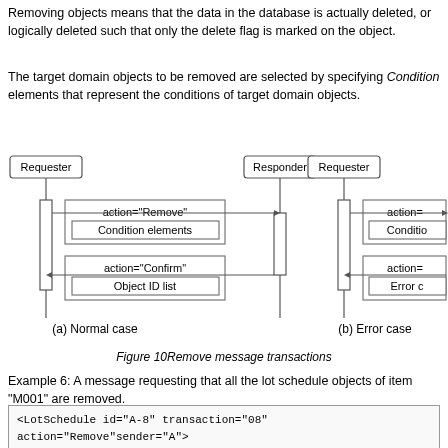Removing objects means that the data in the database is actually deleted, or logically deleted such that only the delete flag is marked on the object.
The target domain objects to be removed are selected by specifying Condition elements that represent the conditions of target domain objects.
[Figure (engineering-diagram): Sequence diagram showing Remove message transactions. Left side (a) Normal case: Requester sends action='Remove' with Condition elements to Responder, Responder replies with action='Confirm' with Object ID list. Right side (b) Error case: Requester sends action with Condition elements, Responder replies with action and Error element.]
Figure 10Remove message transactions
Example 6: A message requesting that all the lot schedule objects of item "M001" are removed.
| <LotSchedule id="A-8" transaction="08" action="Remove"sender="A">
<Condition>
 <Property name="pps:item" value="M001"/>
</Condition>
</LotSchedule> |